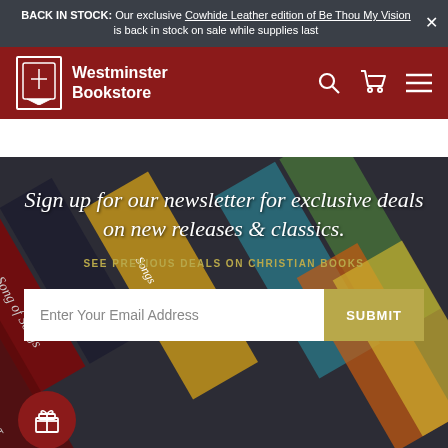BACK IN STOCK: Our exclusive Cowhide Leather edition of Be Thou My Vision is back in stock on sale while supplies last
Westminster Bookstore
Sign up for our newsletter for exclusive deals on new releases & classics.
SEE PREVIOUS DEALS ON CHRISTIAN BOOKS
Enter Your Email Address
SUBMIT